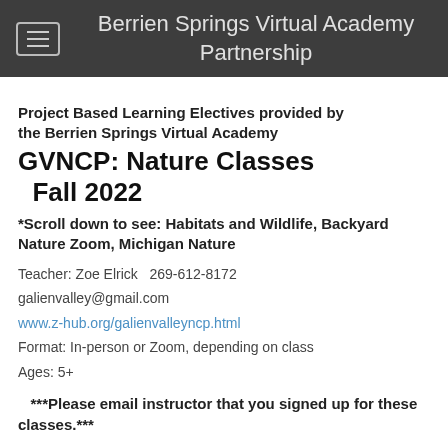Berrien Springs Virtual Academy Partnership
Project Based Learning Electives provided by the Berrien Springs Virtual Academy
GVNCP: Nature Classes Fall 2022
*Scroll down to see: Habitats and Wildlife, Backyard Nature Zoom, Michigan Nature
Teacher:  Zoe Elrick   269-612-8172
galienvalley@gmail.com
www.z-hub.org/galienvalleyncp.html
Format: In-person or Zoom, depending on class
Ages: 5+
***Please email instructor that you signed up for these classes.***
Habitats and Wildlife     Fall